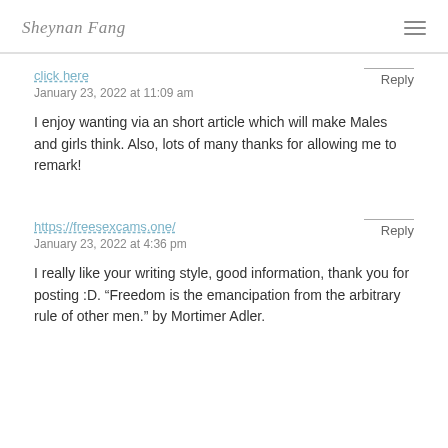Sheynan Fang
click here
January 23, 2022 at 11:09 am
I enjoy wanting via an short article which will make Males and girls think. Also, lots of many thanks for allowing me to remark!
https://freesexcams.one/
January 23, 2022 at 4:36 pm
I really like your writing style, good information, thank you for posting :D. “Freedom is the emancipation from the arbitrary rule of other men.” by Mortimer Adler.